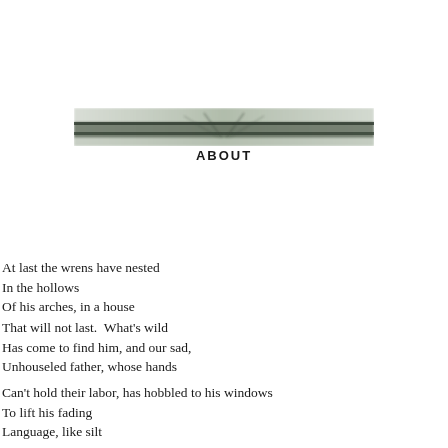[Figure (photo): A blurred horizontal photograph of a dark bridge or architectural structure against a pale sky, appearing muted and greenish-grey.]
ABOUT
At last the wrens have nested
In the hollows
Of his arches, in a house
That will not last.  What’s wild
Has come to find him, and our sad,
Unhouseled father, whose hands
Can’t hold their labor, has hobbled to his windows
To lift his fading
Language, like silt